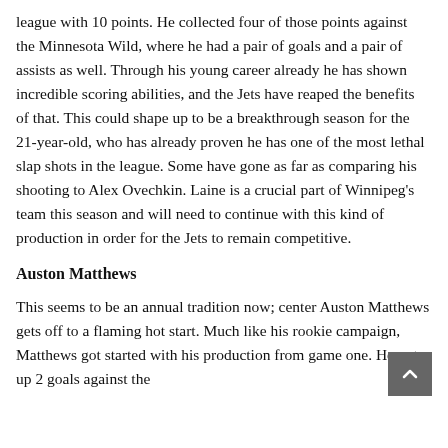league with 10 points. He collected four of those points against the Minnesota Wild, where he had a pair of goals and a pair of assists as well. Through his young career already he has shown incredible scoring abilities, and the Jets have reaped the benefits of that. This could shape up to be a breakthrough season for the 21-year-old, who has already proven he has one of the most lethal slap shots in the league. Some have gone as far as comparing his shooting to Alex Ovechkin. Laine is a crucial part of Winnipeg's team this season and will need to continue with this kind of production in order for the Jets to remain competitive.
Auston Matthews
This seems to be an annual tradition now; center Auston Matthews gets off to a flaming hot start. Much like his rookie campaign, Matthews got started with his production from game one. He put up 2 goals against the